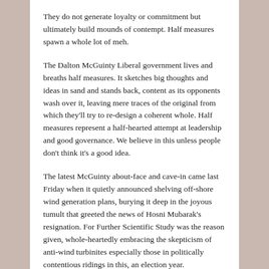They do not generate loyalty or commitment but ultimately build mounds of contempt. Half measures spawn a whole lot of meh.
The Dalton McGuinty Liberal government lives and breaths half measures. It sketches big thoughts and ideas in sand and stands back, content as its opponents wash over it, leaving mere traces of the original from which they'll try to re-design a coherent whole. Half measures represent a half-hearted attempt at leadership and good governance. We believe in this unless people don't think it's a good idea.
The latest McGuinty about-face and cave-in came last Friday when it quietly announced shelving off-shore wind generation plans, burying it deep in the joyous tumult that greeted the news of Hosni Mubarak's resignation. For Further Scientific Study was the reason given, whole-heartedly embracing the skepticism of anti-wind turbinites especially those in politically contentious ridings in this, an election year.